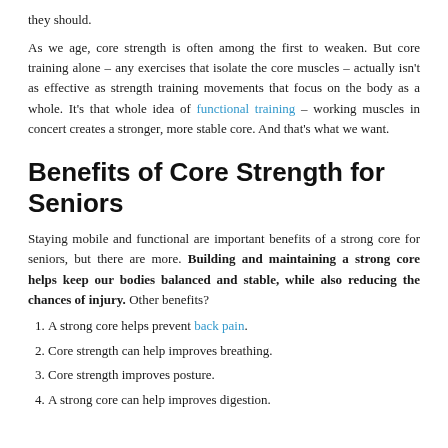they should.
As we age, core strength is often among the first to weaken. But core training alone – any exercises that isolate the core muscles – actually isn't as effective as strength training movements that focus on the body as a whole. It's that whole idea of functional training – working muscles in concert creates a stronger, more stable core. And that's what we want.
Benefits of Core Strength for Seniors
Staying mobile and functional are important benefits of a strong core for seniors, but there are more. Building and maintaining a strong core helps keep our bodies balanced and stable, while also reducing the chances of injury. Other benefits?
A strong core helps prevent back pain.
Core strength can help improves breathing.
Core strength improves posture.
A strong core can help improves digestion.